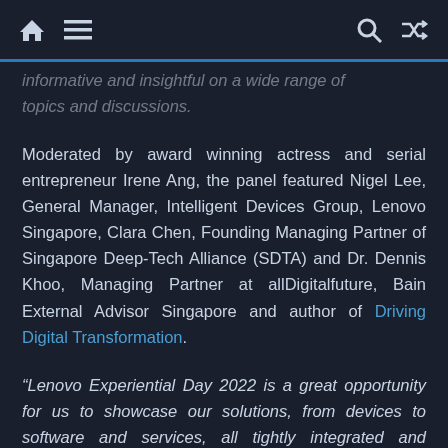Navigation bar with home, menu, search, and shuffle icons
informative and insightful on a wide range of topics and discussions.
Moderated by award winning actress and serial entrepreneur Irene Ang, the panel featured Nigel Lee, General Manager, Intelligent Devices Group, Lenovo Singapore, Clara Chen, Founding Managing Partner of Singapore Deep-Tech Alliance (SDTA) and Dr. Dennis Khoo, Managing Partner at allDigitalfuture, Bain External Advisor Singapore and author of Driving Digital Transformation.
“Lenovo Experiential Day 2022 is a great opportunity for us to showcase our solutions, from devices to software and services, all tightly integrated and presented in a narrative that highlights the impact